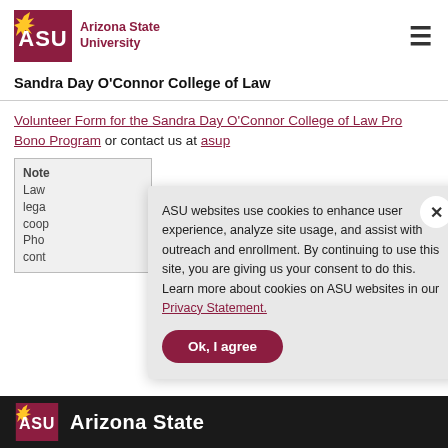[Figure (logo): ASU Arizona State University logo with maroon ASU letters and gold sunburst, followed by 'Arizona State University' text]
Sandra Day O'Connor College of Law
Volunteer Form for the Sandra Day O'Connor College of Law Pro Bono Program or contact us at asup...
Note: Law... legal... coop... Pho... cont...
ASU websites use cookies to enhance user experience, analyze site usage, and assist with outreach and enrollment. By continuing to use this site, you are giving us your consent to do this. Learn more about cookies on ASU websites in our Privacy Statement.
Ok, I agree
ASU Arizona State